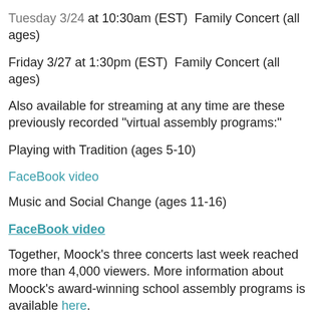Tuesday 3/24 at 10:30am (EST)  Family Concert (all ages)
Friday 3/27 at 1:30pm (EST)  Family Concert (all ages)
Also available for streaming at any time are these previously recorded "virtual assembly programs:"
Playing with Tradition (ages 5-10)
FaceBook video
Music and Social Change (ages 11-16)
FaceBook video
Together, Moock's three concerts last week reached more than 4,000 viewers. More information about Moock's award-winning school assembly programs is available here.
Finally, Alastair has also announced an essay contest for students in grades K-8 based on a new video for